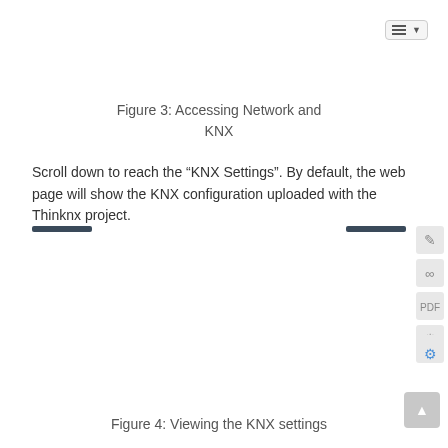[Figure (screenshot): Top-right toolbar button with list icon and dropdown arrow]
Figure 3: Accessing Network and KNX
Scroll down to reach the “KNX Settings”. By default, the web page will show the KNX configuration uploaded with the Thinknx project.
[Figure (screenshot): Right side toolbar icons: edit, link, PDF, puzzle piece (grey), puzzle piece (blue)]
[Figure (screenshot): Bottom-right scroll-to-top button]
Figure 4: Viewing the KNX settings